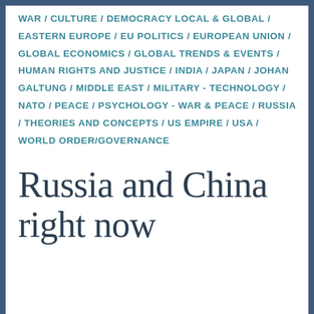WAR / CULTURE / DEMOCRACY LOCAL & GLOBAL / EASTERN EUROPE / EU POLITICS / EUROPEAN UNION / GLOBAL ECONOMICS / GLOBAL TRENDS & EVENTS / HUMAN RIGHTS AND JUSTICE / INDIA / JAPAN / JOHAN GALTUNG / MIDDLE EAST / MILITARY - TECHNOLOGY / NATO / PEACE / PSYCHOLOGY - WAR & PEACE / RUSSIA / THEORIES AND CONCEPTS / US EMPIRE / USA / WORLD ORDER/GOVERNANCE
Russia and China right now